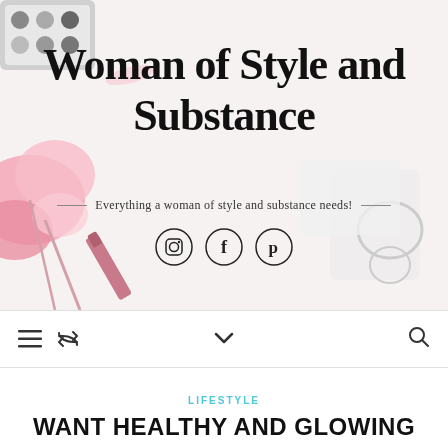[Figure (photo): Website header banner for 'Woman of Style and Substance' blog showing cosmetics, pink flowers, pink lipstick, eyeshadow palette, and glasses on a white background]
Woman of Style and Substance
Everything a woman of style and substance needs!
[Figure (other): Social media icons: Instagram, Facebook, Pinterest — circular outlined icons]
Navigation bar with hamburger menu icon, retweet/share icon, chevron down icon, and search icon
LIFESTYLE
WANT HEALTHY AND GLOWING